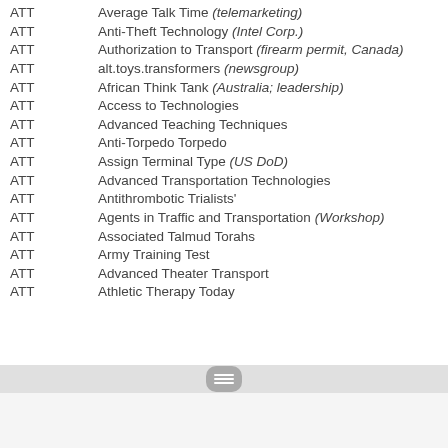ATT   Average Talk Time (telemarketing)
ATT   Anti-Theft Technology (Intel Corp.)
ATT   Authorization to Transport (firearm permit, Canada)
ATT   alt.toys.transformers (newsgroup)
ATT   African Think Tank (Australia; leadership)
ATT   Access to Technologies
ATT   Advanced Teaching Techniques
ATT   Anti-Torpedo Torpedo
ATT   Assign Terminal Type (US DoD)
ATT   Advanced Transportation Technologies
ATT   Antithrombotic Trialists'
ATT   Agents in Traffic and Transportation (Workshop)
ATT   Associated Talmud Torahs
ATT   Army Training Test
ATT   Advanced Theater Transport
ATT   Athletic Therapy Today